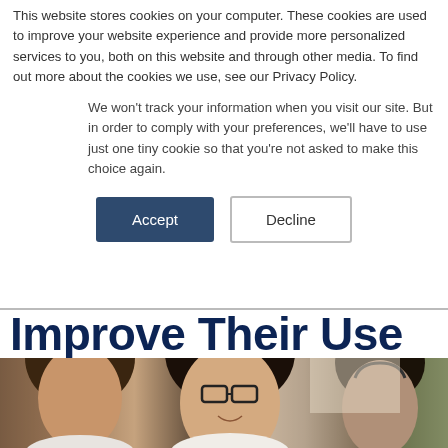This website stores cookies on your computer. These cookies are used to improve your website experience and provide more personalized services to you, both on this website and through other media. To find out more about the cookies we use, see our Privacy Policy.
We won't track your information when you visit our site. But in order to comply with your preferences, we'll have to use just one tiny cookie so that you're not asked to make this choice again.
Accept | Decline
Improve Their Use Of Technology
[Figure (photo): Students sitting at desks in a classroom; a young woman with glasses and dark hair is smiling and looking forward; other students visible in background]